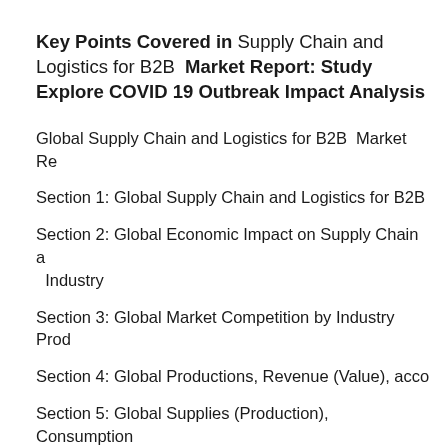Key Points Covered in Supply Chain and Logistics for B2B Market Report: Study Explore COVID 19 Outbreak Impact Analysis
Global Supply Chain and Logistics for B2B Market Re…
Section 1: Global Supply Chain and Logistics for B2B …
Section 2: Global Economic Impact on Supply Chain a… Industry
Section 3: Global Market Competition by Industry Prod…
Section 4: Global Productions, Revenue (Value), acco…
Section 5: Global Supplies (Production), Consumption…